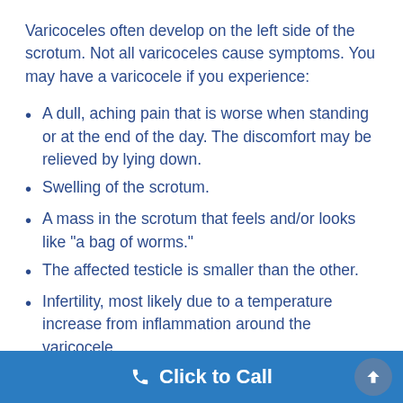Varicoceles often develop on the left side of the scrotum. Not all varicoceles cause symptoms. You may have a varicocele if you experience:
A dull, aching pain that is worse when standing or at the end of the day. The discomfort may be relieved by lying down.
Swelling of the scrotum.
A mass in the scrotum that feels and/or looks like “a bag of worms.”
The affected testicle is smaller than the other.
Infertility, most likely due to a temperature increase from inflammation around the varicocele.
Click to Call